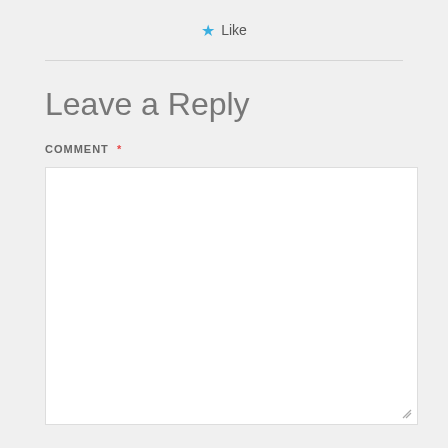★ Like
Leave a Reply
COMMENT *